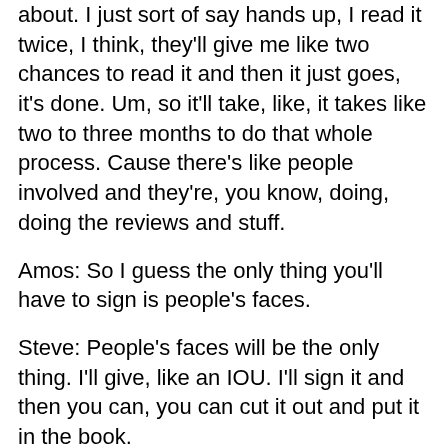about. I just sort of say hands up, I read it twice, I think, they'll give me like two chances to read it and then it just goes, it's done. Um, so it'll take, like, it takes like two to three months to do that whole process. Cause there's like people involved and they're, you know, doing, doing the reviews and stuff.
Amos: So I guess the only thing you'll have to sign is people's faces.
Steve: People's faces will be the only thing. I'll give, like an IOU. I'll sign it and then you can, you can cut it out and put it in the book.
Chris: Yeah, exactly.
Amos: Nice. Nice.
Chris: You just cut your face out and then put your face in the book.